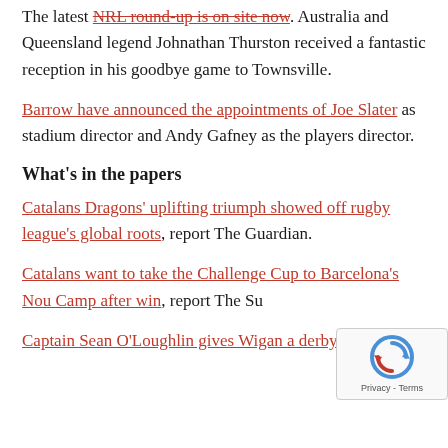The latest NRL round-up is on site now. Australia and Queensland legend Johnathan Thurston received a fantastic reception in his goodbye game to Townsville.
Barrow have announced the appointments of Joe Slater as stadium director and Andy Gafney as the players director.
What's in the papers
Catalans Dragons' uplifting triumph showed off rugby league's global roots, report The Guardian.
Catalans want to take the Challenge Cup to Barcelona's Nou Camp after win, report The Su...
Captain Sean O'Loughlin gives Wigan a derby b...